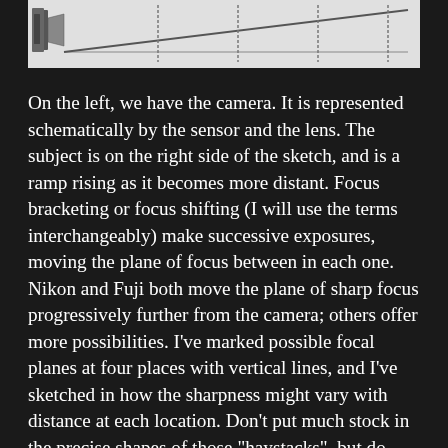[Figure (schematic): A schematic diagram of a camera (sensor and lens on the left) and a ramp subject rising on the right, with four vertical lines marking possible focal planes and haystack-shaped sharpness curves at each focal plane location.]
On the left, we have the camera. It is represented schematically by the sensor and the lens. The subject is on the right side of the sketch, and is a ramp rising as it becomes more distant. Focus bracketing or focus shifting (I will use the terms interchangeably) make successive exposures, moving the plane of focus between in each one. Nikon and Fuji both move the plane of sharp focus progressively further from the camera; others offer more possibilities. I've marked possible focal planes at four places with vertical lines, and I've sketched in how the sharpness might vary with distance at each location. Don't put much stock in the precise shapes of those “haystacks”, but do understand that, for every focus metric that I've looked at,